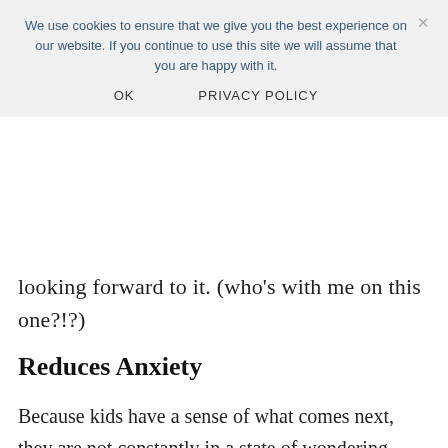We use cookies to ensure that we give you the best experience on our website. If you continue to use this site we will assume that you are happy with it.
OK    PRIVACY POLICY
looking forward to it. (who's with me on this one?!?)
Reduces Anxiety
Because kids have a sense of what comes next, they are not constantly in a state of wondering what's about to happen to them. It lessens the unknown and therefore reduces or minimizes anxiety.